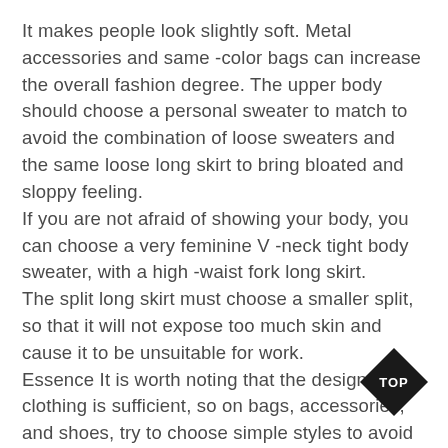It makes people look slightly soft. Metal accessories and same -color bags can increase the overall fashion degree. The upper body should choose a personal sweater to match to avoid the combination of loose sweaters and the same loose long skirt to bring bloated and sloppy feeling. If you are not afraid of showing your body, you can choose a very feminine V -neck tight body sweater, with a high -waist fork long skirt. The split long skirt must choose a smaller split, so that it will not expose too much skin and cause it to be unsuitable for work. Essence It is worth noting that the design of the clothing is sufficient, so on bags, accessories, and shoes, try to choose simple styles to avoid the weirdness brought by too tedious. The spring clothes of sweaters and skirts are recommended here. If you want to become beautiful, change your temperament, learn more about wearing knowledge, and find a
[Figure (other): Black diamond-shaped badge with 'TOP' text in white]